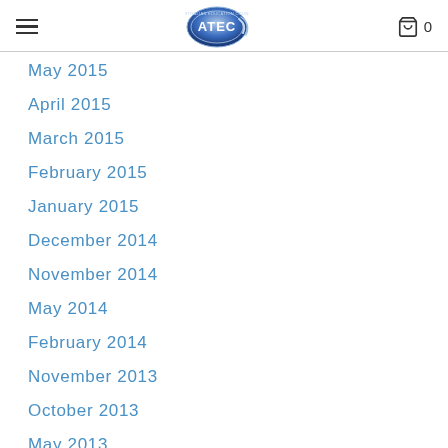ATEC logo header with navigation
May 2015
April 2015
March 2015
February 2015
January 2015
December 2014
November 2014
May 2014
February 2014
November 2013
October 2013
May 2013